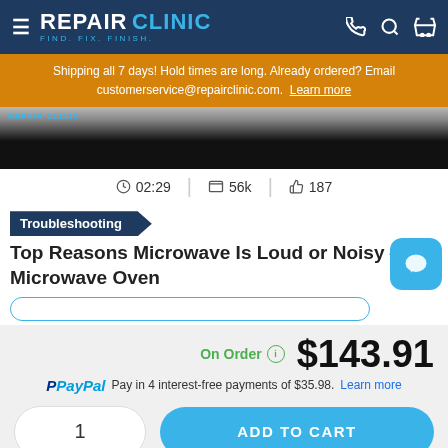REPAIR CLINIC – FIND. FIX. FINISH.
Shipping all 7 days! Hold times are long. Already ordered? Email customerservice@repairclinic.com. Learn more
[Figure (screenshot): Video thumbnail showing RepairClinic video with 02:29 duration, 56k views, 187 likes]
Troubleshooting
Top Reasons Microwave Is Loud or Noisy — Microwave Oven
On Order   $143.91
PayPal Pay in 4 interest-free payments of $35.98. Learn more
1   ADD TO CART